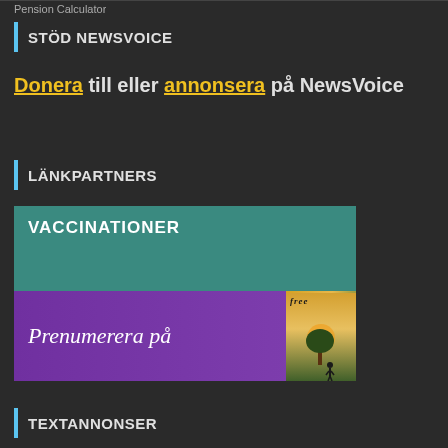Pension Calculator
STÖD NEWSVOICE
Donera till eller annonsera på NewsVoice
LÄNKPARTNERS
[Figure (illustration): Teal banner with text VACCINATIONER in white bold uppercase letters]
[Figure (illustration): Purple banner with italic script text 'Prenumerera på' and a magazine cover image on the right side showing 'free' magazine with a silhouette of a person under a tree]
TEXTANNONSER